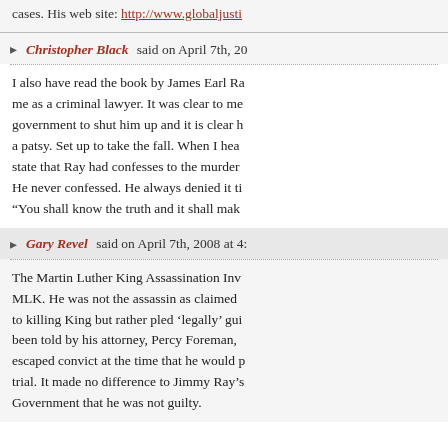cases. His web site: http://www.globaljusti
Christopher Black said on April 7th, 20
I also have read the book by James Earl Ra me as a criminal lawyer. It was clear to me government to shut him up and it is clear h a patsy. Set up to take the fall. When I hea state that Ray had confesses to the murder He never confessed. He always denied it ti “You shall know the truth and it shall mak
Gary Revel said on April 7th, 2008 at 4:
The Martin Luther King Assassination Inv MLK. He was not the assassin as claimed to killing King but rather pled ‘legally’ gui been told by his attorney, Percy Foreman, escaped convict at the time that he would p trial. It made no difference to Jimmy Ray’s Government that he was not guilty.